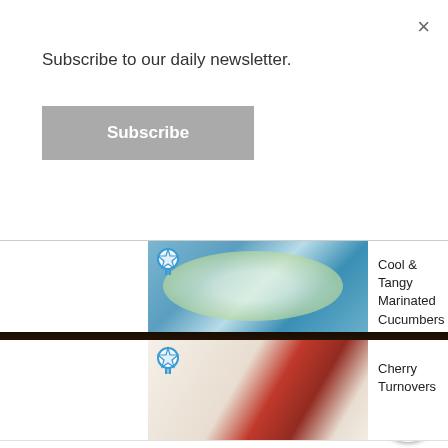Subscribe to our daily newsletter.
Subscribe
[Figure (screenshot): Newsletter subscription modal overlay with close X button, subscribe text, and gray Subscribe button]
[Figure (photo): Photo of Cool & Tangy Marinated Cucumbers on a blue plate with award badge]
Cool & Tangy Marinated Cucumbers
[Figure (photo): Photo of Cherry Turnovers with cherry filling visible and award ribbon badge]
Cherry Turnovers
[Figure (photo): Close-up photo of a dark chocolate crumble cake with white cream, R logo watermark in bottom right]
×